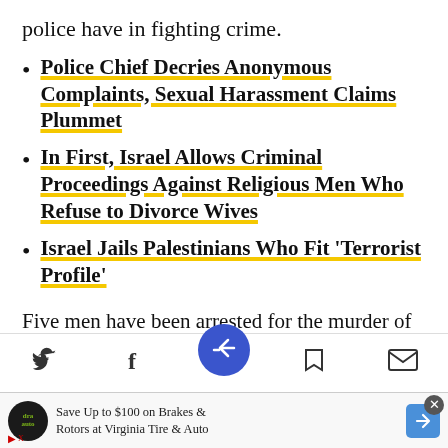police have in fighting crime.
Police Chief Decries Anonymous Complaints, Sexual Harassment Claims Plummet
In First, Israel Allows Criminal Proceedings Against Religious Men Who Refuse to Divorce Wives
Israel Jails Palestinians Who Fit 'Terrorist Profile'
Five men have been arrested for the murder of the crime gang mem[...]oman Anton, in
[Figure (screenshot): Mobile app bottom navigation bar with Twitter, Facebook, share (blue circle center button), bookmark, and email icons, plus an advertisement for Virginia Tire & Auto.]